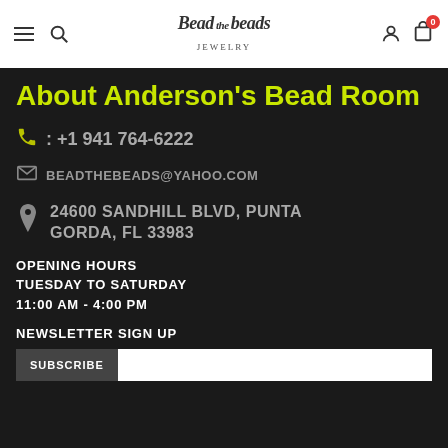Bead the Beads Jewelry — navigation header with hamburger menu, search, logo, user icon, cart (0)
About Anderson's Bead Room
+1 941 764-6222
BEADTHEBEADS@YAHOO.COM
24600 SANDHILL BLVD, PUNTA GORDA, FL 33983
OPENING HOURS
TUESDAY TO SATURDAY
11:00 AM - 4:00 PM
NEWSLETTER SIGN UP
SUBSCRIBE